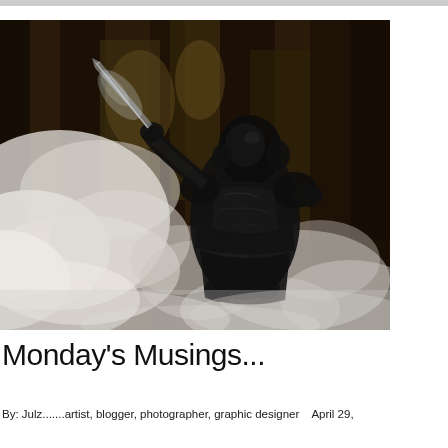[Figure (illustration): A dark armored fantasy warrior knight in black ornate armor holding a sword, surrounded by thick white smoke/mist, standing in a forest with tall dark redwood trees in the background. The scene has a dramatic, dark fantasy game art style.]
Monday's Musings...
By:  Julz.......artist, blogger, photographer, graphic designer    April 29,